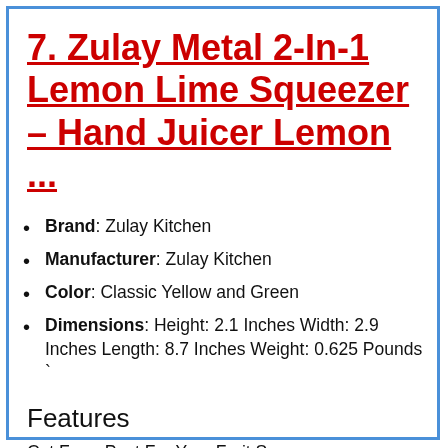7. Zulay Metal 2-In-1 Lemon Lime Squeezer – Hand Juicer Lemon ...
Brand: Zulay Kitchen
Manufacturer: Zulay Kitchen
Color: Classic Yellow and Green
Dimensions: Height: 2.1 Inches Width: 2.9 Inches Length: 8.7 Inches Weight: 0.625 Pounds `
Features
Cut From Post For Your Fruit S...